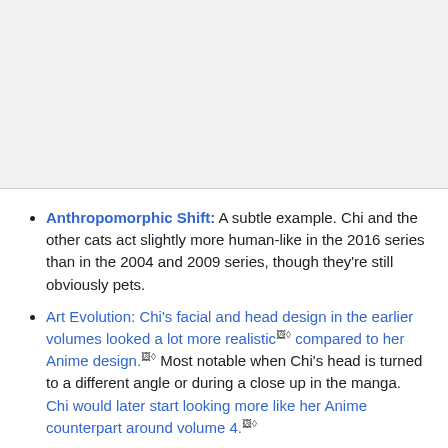[Figure (other): Gray image/photo area at top of page, approximately 188px tall]
Anthropomorphic Shift: A subtle example. Chi and the other cats act slightly more human-like in the 2016 series than in the 2004 and 2009 series, though they're still obviously pets.
Art Evolution: Chi's facial and head design in the earlier volumes looked a lot more realistic compared to her Anime design. Most notable when Chi's head is turned to a different angle or during a close up in the manga. Chi would later start looking more like her Anime counterpart around volume 4.